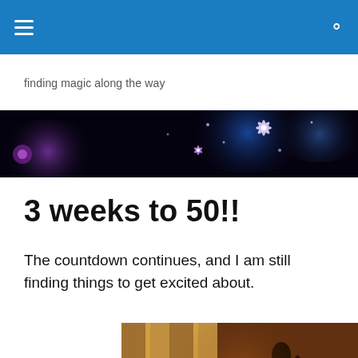Navigation bar with hamburger menu and search icon
finding magic along the way
[Figure (illustration): Dark banner image with purple/blue magical sparkles and glowing flower-like lights on a black background]
3 weeks to 50!!
The countdown continues, and I am still finding things to get excited about.
[Figure (photo): Photo of a person with white hair and a silhouetted figure raising their arm, in front of large columns, with warm golden tones]